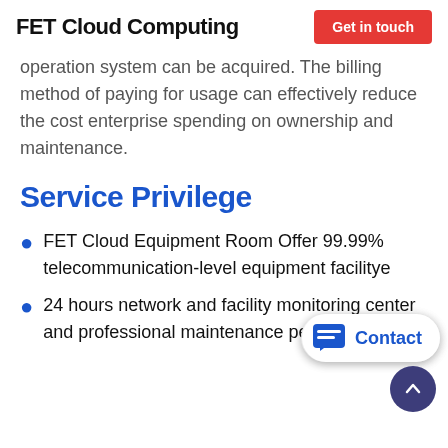FET Cloud Computing | Get in touch
operation system can be acquired. The billing method of paying for usage can effectively reduce the cost enterprise spending on ownership and maintenance.
Service Privilege
FET Cloud Equipment Room Offer 99.99% telecommunication-level equipment facilitye
24 hours network and facility monitoring center and professional maintenance personnel